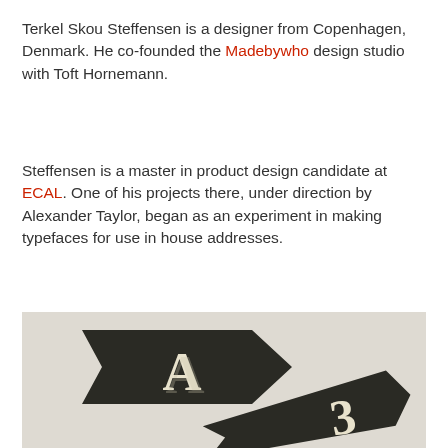Terkel Skou Steffensen is a designer from Copenhagen, Denmark. He co-founded the Madebywho design studio with Toft Hornemann.
Steffensen is a master in product design candidate at ECAL. One of his projects there, under direction by Alexander Taylor, began as an experiment in making typefaces for use in house addresses.
[Figure (photo): Photo of dark arrow-shaped plates with raised cream/beige letter 'A' and number '3', house address typeface design objects on a light gray background. A red square button with a white up-arrow chevron is overlaid on the top-right of the image.]